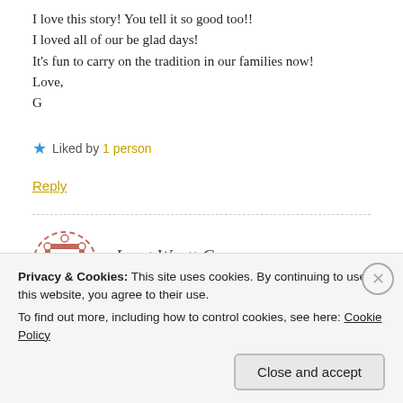I love this story! You tell it so good too!!
I loved all of our be glad days!
It’s fun to carry on the tradition in our families now!
Love,
G
★ Liked by 1 person
Reply
Janet Wyatt Cross
APRIL 8, 2016 AT 10:21 PM
Privacy & Cookies: This site uses cookies. By continuing to use this website, you agree to their use.
To find out more, including how to control cookies, see here: Cookie Policy
Close and accept